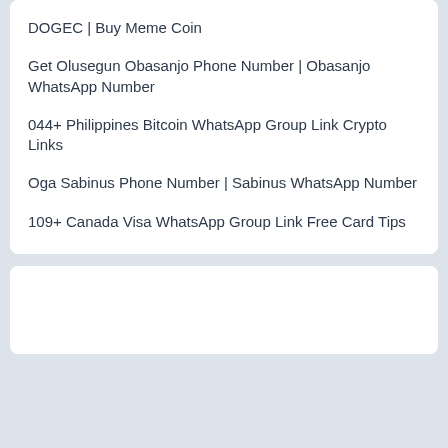DOGEC | Buy Meme Coin
Get Olusegun Obasanjo Phone Number | Obasanjo WhatsApp Number
044+ Philippines Bitcoin WhatsApp Group Link Crypto Links
Oga Sabinus Phone Number | Sabinus WhatsApp Number
109+ Canada Visa WhatsApp Group Link Free Card Tips